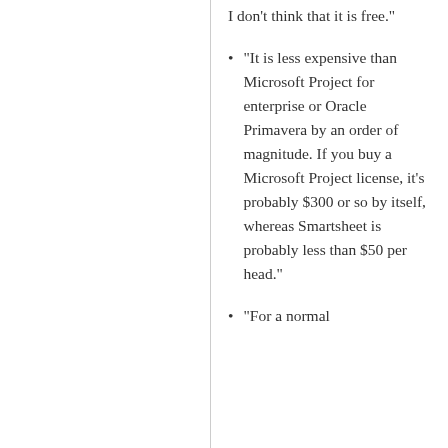I don't think that it is free."
"It is less expensive than Microsoft Project for enterprise or Oracle Primavera by an order of magnitude. If you buy a Microsoft Project license, it's probably $300 or so by itself, whereas Smartsheet is probably less than $50 per head."
"For a normal...